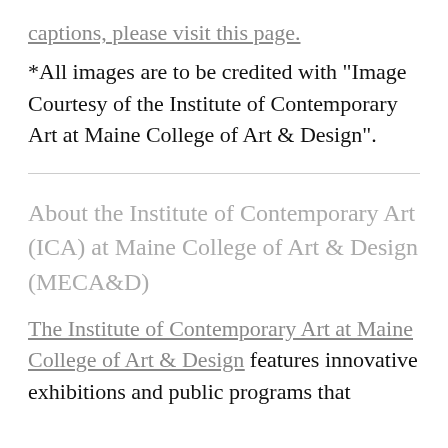captions, please visit this page.
*All images are to be credited with "Image Courtesy of the Institute of Contemporary Art at Maine College of Art & Design".
About the Institute of Contemporary Art (ICA) at Maine College of Art & Design (MECA&D)
The Institute of Contemporary Art at Maine College of Art & Design features innovative exhibitions and public programs that